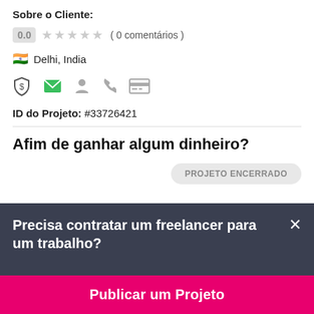Sobre o Cliente:
0.0  ★★★★★ ( 0 comentários )
🇮🇳 Delhi, India
[Figure (infographic): Row of 5 verification/profile icons: shield with dollar sign, green envelope, person silhouette, phone, credit card]
ID do Projeto: #33726421
Afim de ganhar algum dinheiro?
PROJETO ENCERRADO
Precisa contratar um freelancer para um trabalho?
Publicar um Projeto